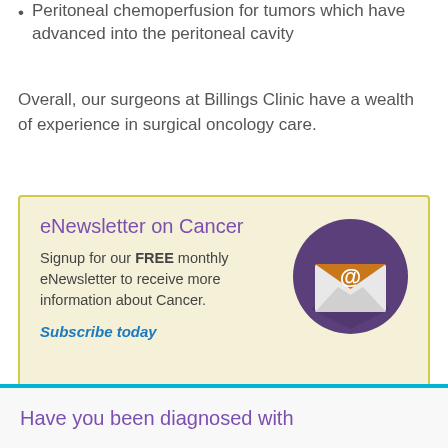Peritoneal chemoperfusion for tumors which have advanced into the peritoneal cavity
Overall, our surgeons at Billings Clinic have a wealth of experience in surgical oncology care.
[Figure (infographic): eNewsletter on Cancer signup box with email icon, purple background circle with envelope and @ symbol. Title: eNewsletter on Cancer. Text: Signup for our FREE monthly eNewsletter to receive more information about Cancer. Subscribe today link.]
Have you been diagnosed with